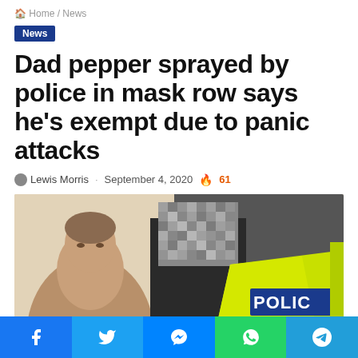Home / News
News
Dad pepper sprayed by police in mask row says he's exempt due to panic attacks
Lewis Morris · September 4, 2020 🔥 61
[Figure (photo): Video still showing a man without a mask being confronted by a police officer in a high-visibility vest reading POLICE, with the officer's face pixelated.]